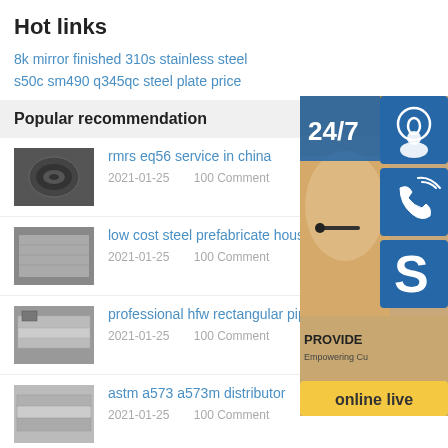Hot links
8k mirror finished 310s stainless steel
s50c sm490 q345qc steel plate price
Popular recommendation
rmrs eq56 service in china
2021-01-25    100 Comment
low cost steel prefabricate house
2021-01-25    100 Comment
professional hfw rectangular pipe suppliers
2021-01-25    100 Comment
astm a573 a573m distributor
2021-01-25    100 Comment
[Figure (infographic): Customer service widget showing 24/7 support icons: headset icon, phone icon, Skype icon, and 'online live' button, with a woman wearing a headset in the background]